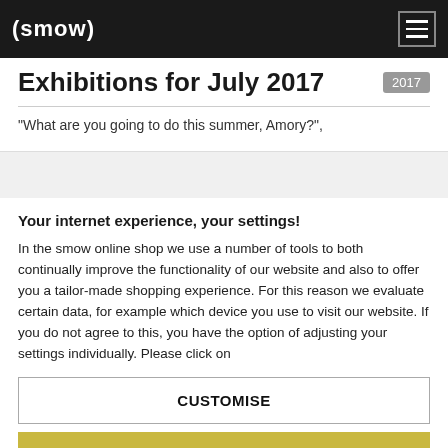(smow)
Exhibitions for July 2017
“What are you going to do this summer, Amory?”,
Your internet experience, your settings!
In the smow online shop we use a number of tools to both continually improve the functionality of our website and also to offer you a tailor-made shopping experience. For this reason we evaluate certain data, for example which device you use to visit our website. If you do not agree to this, you have the option of adjusting your settings individually. Please click on
CUSTOMISE
AGREE TO ALL OPTIONAL TOOLS